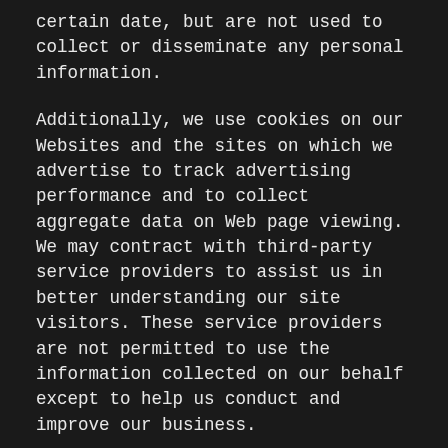certain date, but are not used to collect or disseminate any personal information.
Additionally, we use cookies on our Websites and the sites on which we advertise to track advertising performance and to collect aggregate data on Web page viewing. We may contract with third-party service providers to assist us in better understanding our site visitors. These service providers are not permitted to use the information collected on our behalf except to help us conduct and improve our business.
You can manually disable cookies. You should review the online documentation of your browser or consult with the provider of your browser for instructions on how to disable cookies. However, disabling cookies may cause some parts of the Website to not function properly.